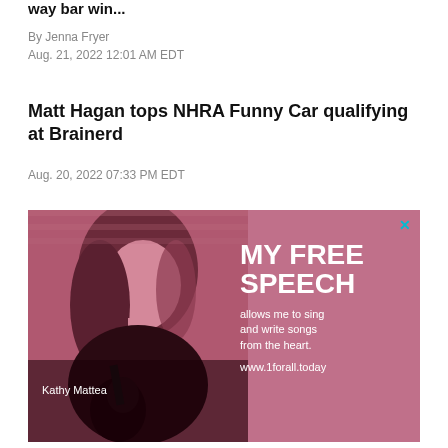way bar win...
By Jenna Fryer
Aug. 21, 2022 12:01 AM EDT
Matt Hagan tops NHRA Funny Car qualifying at Brainerd
Aug. 20, 2022 07:33 PM EDT
[Figure (photo): Advertisement featuring Kathy Mattea with text MY FREE SPEECH allows me to sing and write songs from the heart. www.1forall.today]